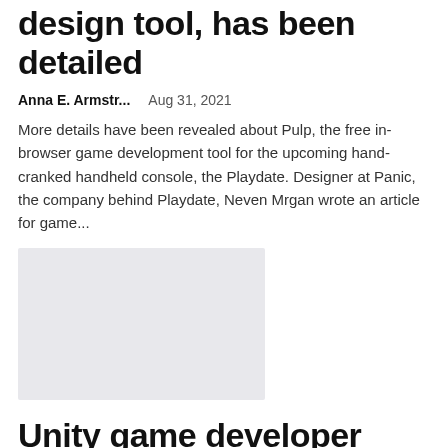design tool, has been detailed
Anna E. Armstr...   Aug 31, 2021
More details have been revealed about Pulp, the free in-browser game development tool for the upcoming hand-cranked handheld console, the Playdate. Designer at Panic, the company behind Playdate, Neven Mrgan wrote an article for game...
[Figure (photo): Gray placeholder image for an article thumbnail]
Unity game developer certification deal: train at your own pace for just $39...